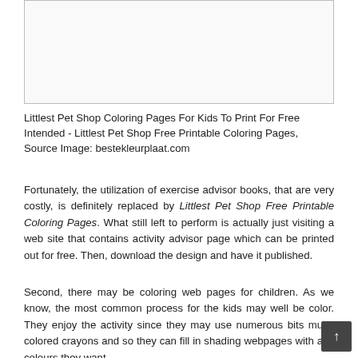[Figure (illustration): Empty white box with light border representing a coloring page image placeholder]
Littlest Pet Shop Coloring Pages For Kids To Print For Free Intended - Littlest Pet Shop Free Printable Coloring Pages, Source Image: bestekleurplaat.com
Fortunately, the utilization of exercise advisor books, that are very costly, is definitely replaced by Littlest Pet Shop Free Printable Coloring Pages. What still left to perform is actually just visiting a web site that contains activity advisor page which can be printed out for free. Then, download the design and have it published.
Second, there may be coloring web pages for children. As we know, the most common process for the kids may well be color. They enjoy the activity since they may use numerous bits multi-colored crayons and so they can fill in shading webpages with any colours they want.